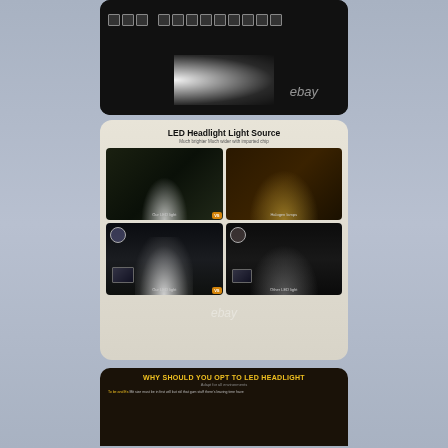[Figure (photo): Car headlight beam test photo showing bright white LED light illuminated against a wall with measurement markers, with a car visible on the right side. eBay watermark visible.]
[Figure (infographic): LED Headlight Light Source comparison infographic. Title: 'LED Headlight Light Source', subtitle: 'Much brighter Much wider with imported chip'. Four comparison photos: top-left 'Our LED light' (bright white), top-right 'Halogen lamps' (warm yellow), bottom-left 'Our LED light' with distance inset and VS badge, bottom-right 'Other LED light'.]
[Figure (infographic): Partial view of infographic panel with yellow title text 'WHY SHOULD YOU OPT TO LED HEADLIGHT', subtitle 'Adapt for all environments', and partial body text lines below.]